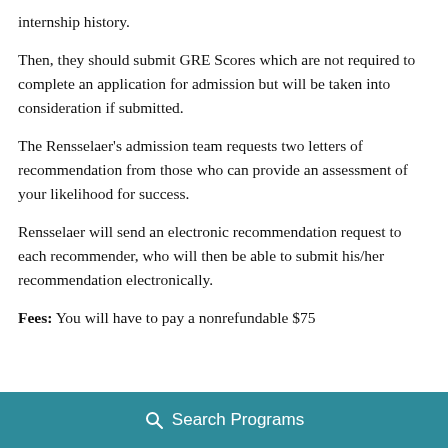internship history.
Then, they should submit GRE Scores which are not required to complete an application for admission but will be taken into consideration if submitted.
The Rensselaer's admission team requests two letters of recommendation from those who can provide an assessment of your likelihood for success.
Rensselaer will send an electronic recommendation request to each recommender, who will then be able to submit his/her recommendation electronically.
Fees: You will have to pay a nonrefundable $75
Search Programs